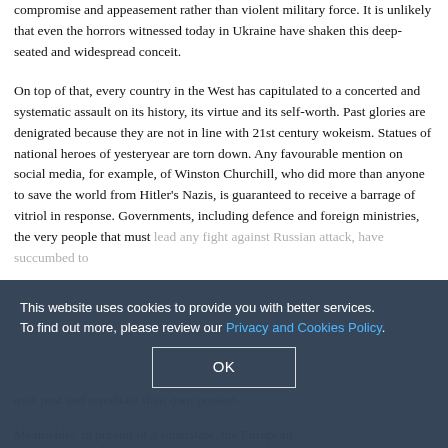compromise and appeasement rather than violent military force. It is unlikely that even the horrors witnessed today in Ukraine have shaken this deep-seated and widespread conceit.
On top of that, every country in the West has capitulated to a concerted and systematic assault on its history, its virtue and its self-worth. Past glories are denigrated because they are not in line with 21st century wokeism. Statues of national heroes of yesteryear are torn down. Any favourable mention on social media, for example, of Winston Churchill, who did more than anyone to save the world from Hitler's Nazis, is guaranteed to receive a barrage of vitriol in response. Governments, including defence and foreign ministries, the very people that must lead any fight against Russian attack, have succumbed to ... own past and repudiate their own present.
Meanwhile, in pursuit of a superstate, the European Union...
This website uses cookies to provide you with better services. To find out more, please review our Privacy and Cookies Policy.